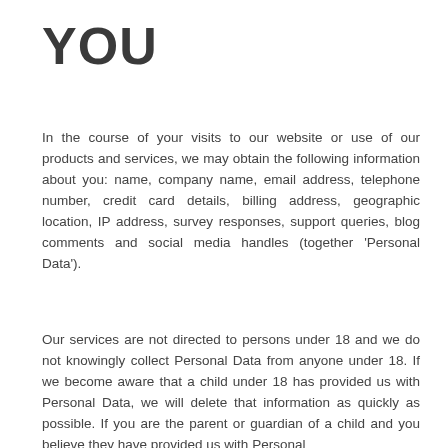YOU
In the course of your visits to our website or use of our products and services, we may obtain the following information about you: name, company name, email address, telephone number, credit card details, billing address, geographic location, IP address, survey responses, support queries, blog comments and social media handles (together 'Personal Data').
Our services are not directed to persons under 18 and we do not knowingly collect Personal Data from anyone under 18. If we become aware that a child under 18 has provided us with Personal Data, we will delete that information as quickly as possible. If you are the parent or guardian of a child and you believe they have provided us with Personal